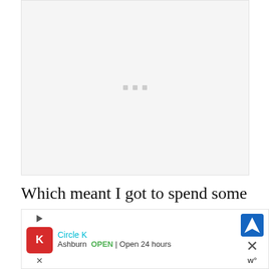[Figure (other): Large image placeholder with light gray background and three small gray dots in the center, indicating a loading or empty image area]
Which meant I got to spend some time in the sun before anyone got there. Look at this porch view. Ahh. Beautiful and warm
[Figure (other): Advertisement banner for Circle K showing brand logo, Ashburn location with OPEN and Open 24 hours labels, navigation arrow icon, and close (X) button with weather widget icon]